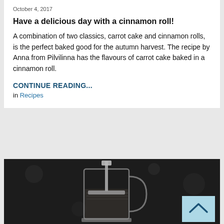October 4, 2017
Have a delicious day with a cinnamon roll!
A combination of two classics, carrot cake and cinnamon rolls, is the perfect baked good for the autumn harvest. The recipe by Anna from Pilvilinna has the flavours of carrot cake baked in a cinnamon roll.
CONTINUE READING...
in Recipes
[Figure (photo): A French press coffee maker on a dark background with a light blue scroll-to-top button in the bottom right corner.]